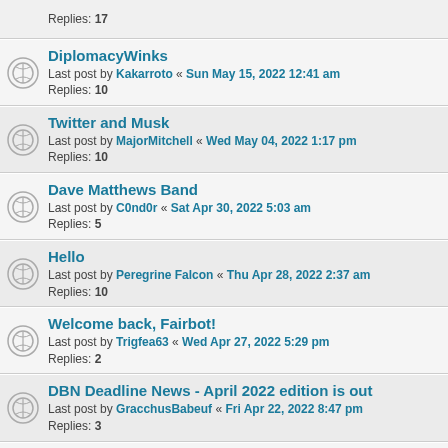Replies: 17
DiplomacyWinks
Last post by Kakarroto « Sun May 15, 2022 12:41 am
Replies: 10
Twitter and Musk
Last post by MajorMitchell « Wed May 04, 2022 1:17 pm
Replies: 10
Dave Matthews Band
Last post by C0nd0r « Sat Apr 30, 2022 5:03 am
Replies: 5
Hello
Last post by Peregrine Falcon « Thu Apr 28, 2022 2:37 am
Replies: 10
Welcome back, Fairbot!
Last post by Trigfea63 « Wed Apr 27, 2022 5:29 pm
Replies: 2
DBN Deadline News - April 2022 edition is out
Last post by GracchusBabeuf « Fri Apr 22, 2022 8:47 pm
Replies: 3
Web and V Diplomacy
Last post by GracchusBabeuf « Fri Apr 22, 2022 8:40 pm
Replies: 3
Webdiplomacy "Ads"?